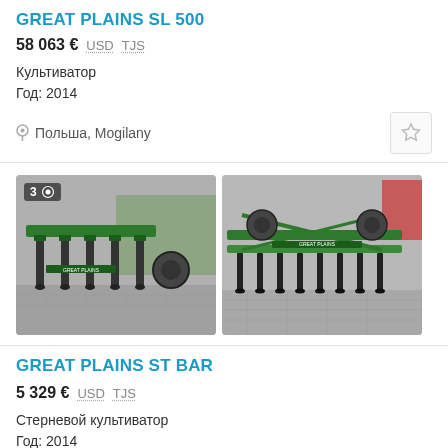GREAT PLAINS SL 500
58 063 €  USD  TJS
Культиватор
Год: 2014
Польша, Mogilany
[Figure (photo): Two photos of green Great Plains cultivator equipment on a paved area]
GREAT PLAINS ST BAR
5 329 €  USD  TJS
Стерневой культиватор
Год: 2014